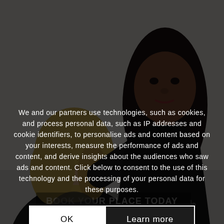[Figure (photo): A makeup artist with blonde hair (seen from behind) applying makeup to a dark-skinned woman with long black hair, both wearing black clothing, light background]
We and our partners use technologies, such as cookies, and process personal data, such as IP addresses and cookie identifiers, to personalise ads and content based on your interests, measure the performance of ads and content, and derive insights about the audiences who saw ads and content. Click below to consent to the use of this technology and the processing of your personal data for these purposes.
OK
Learn more